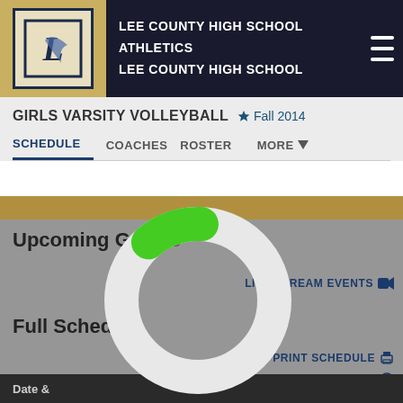LEE COUNTY HIGH SCHOOL ATHLETICS
LEE COUNTY HIGH SCHOOL
GIRLS VARSITY VOLLEYBALL · Fall 2014
SCHEDULE   COACHES   ROSTER   MORE
Upcoming Games
[Figure (donut-chart): A white/light gray donut chart with a green segment indicating approximately 10-15% progress, overlaid on the page content as a loading indicator.]
LIVE STREAM EVENTS 🎥
Full Schedule
PRINT SCHEDULE 🖨
SUBSCRIBE ℹ
Key: 🏠 Home  🚌 Away  ⏱ Practice  🎓 School  ○ Other  ★ Scrimmage  🔄 Postponed  ⚠ Cancelled
Date &